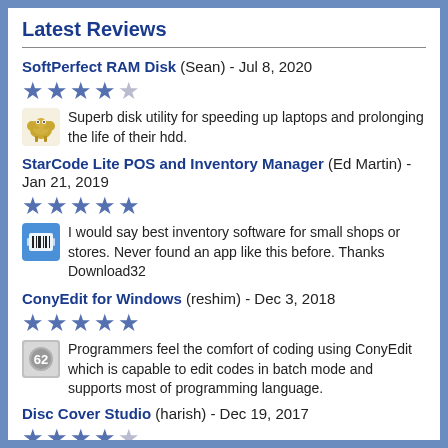Latest Reviews
SoftPerfect RAM Disk (Sean) - Jul 8, 2020
★★★★★
Superb disk utility for speeding up laptops and prolonging the life of their hdd.
StarCode Lite POS and Inventory Manager (Ed Martin) - Jan 21, 2019
★★★★★
I would say best inventory software for small shops or stores. Never found an app like this before. Thanks Download32
ConyEdit for Windows (reshim) - Dec 3, 2018
★★★★★
Programmers feel the comfort of coding using ConyEdit which is capable to edit codes in batch mode and supports most of programming language.
Disc Cover Studio (harish) - Dec 19, 2017
★★★★☆
No need to go for a professional designer for the cover of new record, you can do it on your own sitting at home PC adding your own image on it with the Disc Cover Studio.
Kaspersky Security Scanner (Anthony) - Oct 12, 2017
★★★★☆